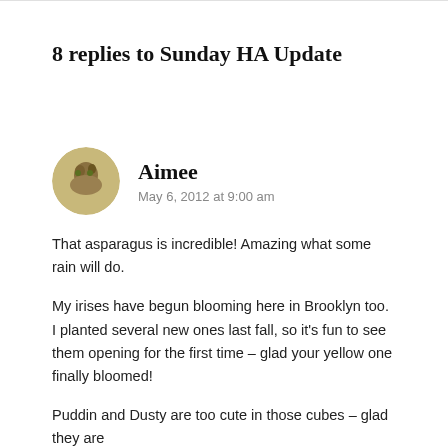8 replies to Sunday HA Update
Aimee
May 6, 2012 at 9:00 am
That asparagus is incredible! Amazing what some rain will do.
My irises have begun blooming here in Brooklyn too. I planted several new ones last fall, so it's fun to see them opening for the first time – glad your yellow one finally bloomed!
Puddin and Dusty are too cute in those cubes – glad they are